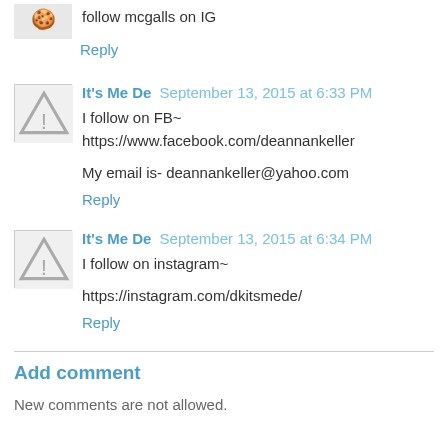follow mcgalls on IG
Reply
It's Me De  September 13, 2015 at 6:33 PM
I follow on FB~ https://www.facebook.com/deannankeller
My email is- deannankeller@yahoo.com
Reply
It's Me De  September 13, 2015 at 6:34 PM
I follow on instagram~
https://instagram.com/dkitsmede/
Reply
Add comment
New comments are not allowed.